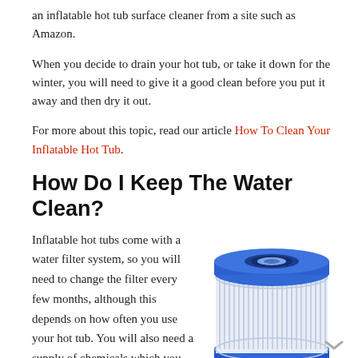an inflatable hot tub surface cleaner from a site such as Amazon.
When you decide to drain your hot tub, or take it down for the winter, you will need to give it a good clean before you put it away and then dry it out.
For more about this topic, read our article How To Clean Your Inflatable Hot Tub.
How Do I Keep The Water Clean?
Inflatable hot tubs come with a water filter system, so you will need to change the filter every few months, although this depends on how often you use your hot tub. You will also need a supply of chemicals which you add
[Figure (photo): A cylindrical hot tub water filter cartridge with blue plastic ends and white pleated filter material, viewed from a slight angle above.]